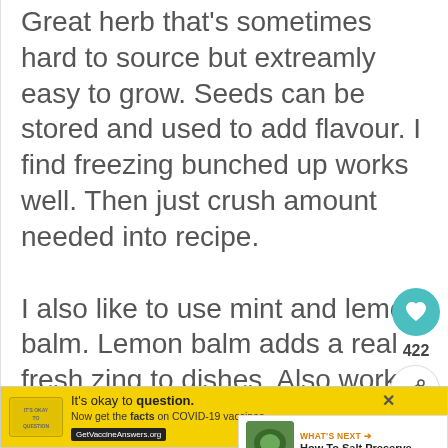Great herb that's sometimes hard to source but extreamly easy to grow. Seeds can be stored and used to add flavour. I find freezing bunched up works well. Then just crush amount needed into recipe. I also like to use mint and lemon balm. Lemon balm adds a real fresh zing to dishes. Also works well mixed with other herbs, garlic and apple 1/4s for filling chicken or turkey cavities prior to roasting. Use
[Figure (infographic): Teal heart/like button icon with count 422 below, and a share button below that]
[Figure (infographic): What's Next panel with herb image thumbnail and text 'How To Salt Preserve...']
[Figure (infographic): Yellow advertisement banner: It's okay to question. Now get the facts on COVID-19 vaccines. GetVaccineAnswers.org]